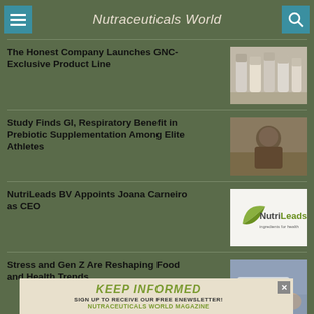Nutraceuticals World
The Honest Company Launches GNC-Exclusive Product Line
[Figure (photo): Supplement bottles on a table]
Study Finds GI, Respiratory Benefit in Prebiotic Supplementation Among Elite Athletes
[Figure (photo): Elite athlete in military gear outdoors]
NutriLeads BV Appoints Joana Carneiro as CEO
[Figure (logo): NutriLeads logo - ingredients for health]
Stress and Gen Z Are Reshaping Food and Health Trends
[Figure (photo): Person typing on laptop]
KEEP INFORMED
SIGN UP TO RECEIVE OUR FREE ENEWSLETTER!
NUTRACEUTICALS WORLD MAGAZINE